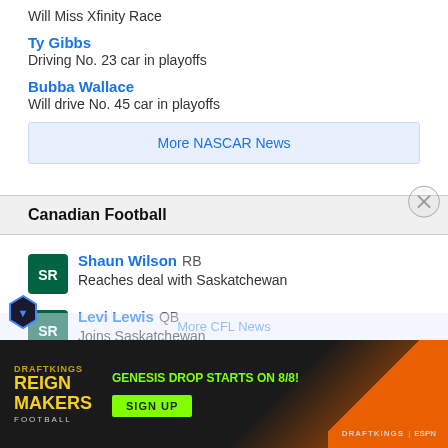Will Miss Xfinity Race
Ty Gibbs — Driving No. 23 car in playoffs
Bubba Wallace — Will drive No. 45 car in playoffs
More NASCAR News
Canadian Football
Shaun Wilson RB — Reaches deal with Saskatchewan
Levi Lewis QB — Joins Saskatchewan
Vernon Adams QB (partial, ad overlay)
[Figure (advertisement): Reign Makers Football ad: GENESIS DROP STARTS ON 8/8! SIGN UP button, dark background with orange diagonal, DraftKings logo]